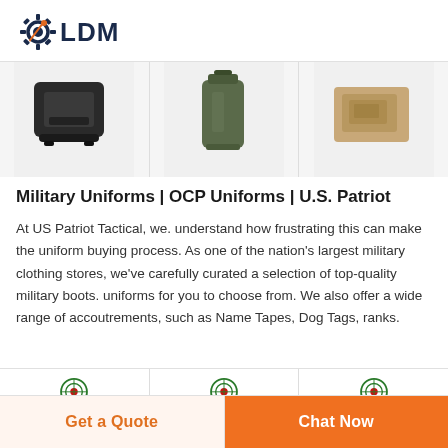[Figure (logo): LDM logo with gear/wrench icon in dark navy and orange]
[Figure (photo): Three product images showing military equipment items (black case, green canister, tan item) in a horizontal strip]
Military Uniforms | OCP Uniforms | U.S. Patriot
At US Patriot Tactical, we. understand how frustrating this can make the uniform buying process. As one of the nation's largest military clothing stores, we've carefully curated a selection of top-quality military boots. uniforms for you to choose from. We also offer a wide range of accoutrements, such as Name Tapes, Dog Tags, ranks.
[Figure (logo): Three DEEKON brand logos with circular green emblem, each above a partial product image]
Get a Quote
Chat Now